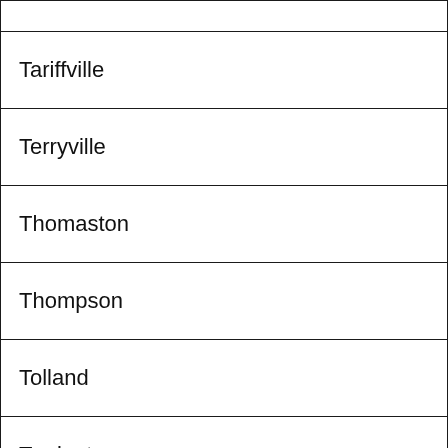|  |
| Tariffville |
| Terryville |
| Thomaston |
| Thompson |
| Tolland |
| Torrington |
| Trumbull |
| U |